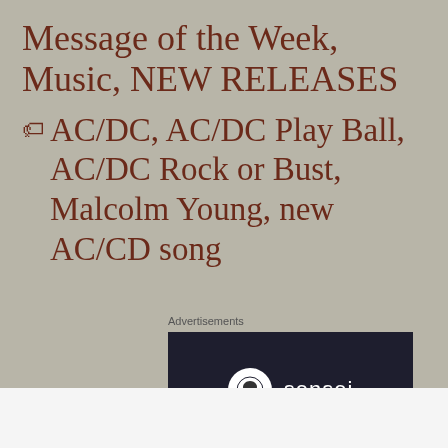Message of the Week, Music, NEW RELEASES
AC/DC, AC/DC Play Ball, AC/DC Rock or Bust, Malcolm Young, new AC/CD song
Advertisements
[Figure (logo): Sensei logo: white circle with tree icon on dark navy background, with 'sensei' text in white]
Advertisements
[Figure (infographic): Yellow advertisement banner: 'Share, Discuss, Collaborate, P2.' on left, 'Powered by WordPress' logo on right]